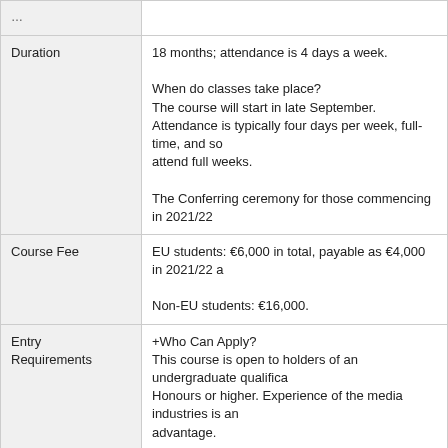| Field | Details |
| --- | --- |
| Duration | 18 months; attendance is 4 days a week.

When do classes take place?
The course will start in late September.
Attendance is typically four days per week, full-time, and so...
attend full weeks.

The Conferring ceremony for those commencing in 2021/22... |
| Course Fee | EU students: €6,000 in total, payable as €4,000 in 2021/22 a...

Non-EU students: €16,000. |
| Entry Requirements | +Who Can Apply?
This course is open to holders of an undergraduate qualifica...
Honours or higher. Experience of the media industries is an...
advantage.

Applicants without a degree may be considered provided the... |
| Number of Places | 20 |
| Interview | Yes |
| Portfolio | Yes |
|  | +MA Broadcast Production.

This 18 month production-centred course is for graduates of... |